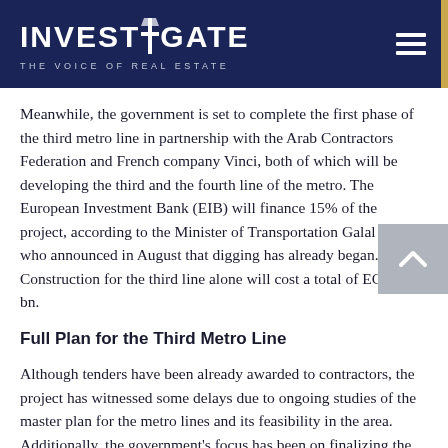INVESTIGATE — THE VOICE OF REAL ESTATE
Meanwhile, the government is set to complete the first phase of the third metro line in partnership with the Arab Contractors Federation and French company Vinci, both of which will be developing the third and the fourth line of the metro. The European Investment Bank (EIB) will finance 15% of the project, according to the Minister of Transportation Galal Said, who announced in August that digging has already began. Construction for the third line alone will cost a total of EGP 20 bn.
Full Plan for the Third Metro Line
Although tenders have been already awarded to contractors, the project has witnessed some delays due to ongoing studies of the master plan for the metro lines and its feasibility in the area. Additionally, the government's focus has been on finalizing the current phase of the third line that extends to Cairo International Airport. The third metro line is expected to consist of 15 metro stations, including the one in Zamalek, at a cost of